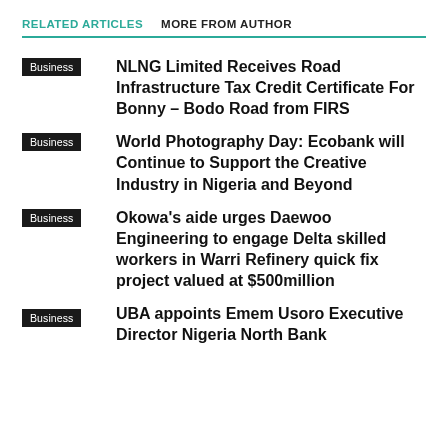RELATED ARTICLES   MORE FROM AUTHOR
Business | NLNG Limited Receives Road Infrastructure Tax Credit Certificate For Bonny – Bodo Road from FIRS
Business | World Photography Day: Ecobank will Continue to Support the Creative Industry in Nigeria and Beyond
Business | Okowa's aide urges Daewoo Engineering to engage Delta skilled workers in Warri Refinery quick fix project valued at $500million
Business | UBA appoints Emem Usoro Executive Director Nigeria North Bank